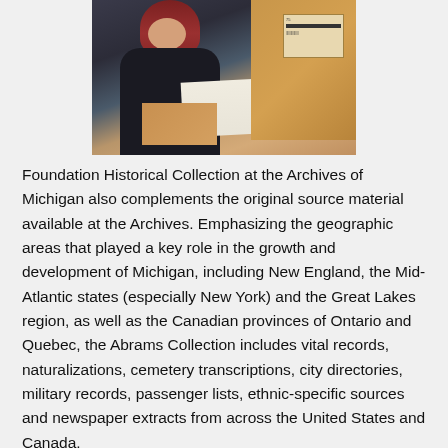[Figure (photo): A woman with red/auburn hair and glasses leaning over a table, examining documents. Large cardboard shipping boxes are visible on the right side of the frame.]
Foundation Historical Collection at the Archives of Michigan also complements the original source material available at the Archives. Emphasizing the geographic areas that played a key role in the growth and development of Michigan, including New England, the Mid-Atlantic states (especially New York) and the Great Lakes region, as well as the Canadian provinces of Ontario and Quebec, the Abrams Collection includes vital records, naturalizations, cemetery transcriptions, city directories, military records, passenger lists, ethnic-specific sources and newspaper extracts from across the United States and Canada.